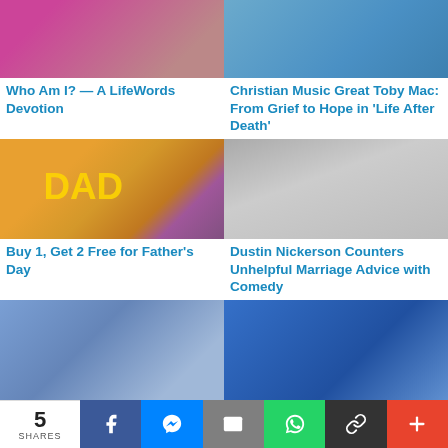[Figure (photo): Partial photo (top cropped) — person]
Who Am I? — A LifeWords Devotion
[Figure (photo): Partial photo — person in blue]
Christian Music Great Toby Mac: From Grief to Hope in 'Life After Death'
[Figure (photo): Gold DAD balloon letters in front of ties]
Buy 1, Get 2 Free for Father's Day
[Figure (photo): Man and woman smiling — Dustin Nickerson]
Dustin Nickerson Counters Unhelpful Marriage Advice with Comedy
[Figure (photo): Three young people looking at phones]
[Figure (photo): People looking up]
5 SHARES  [Facebook] [Messenger] [Email] [WhatsApp] [Link] [More]